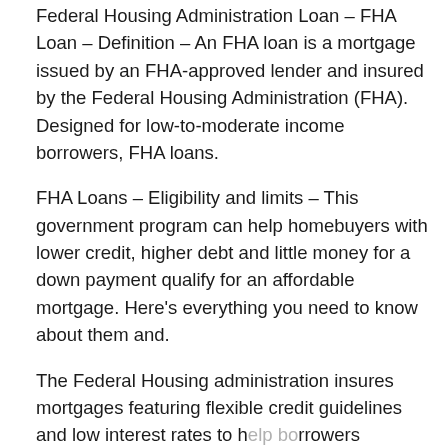Federal Housing Administration Loan – FHA Loan – Definition – An FHA loan is a mortgage issued by an FHA-approved lender and insured by the Federal Housing Administration (FHA). Designed for low-to-moderate income borrowers, FHA loans.
FHA Loans – Eligibility and limits – This government program can help homebuyers with lower credit, higher debt and little money for a down payment qualify for an affordable mortgage. Here's everything you need to know about them and.
The Federal Housing administration insures mortgages featuring flexible credit guidelines and low interest rates to help borrowers achieve home ownership.
FHA [triangle icon] ailed to document borrowers' creditworthiness – such as recent pay stubs or housing payment histories –